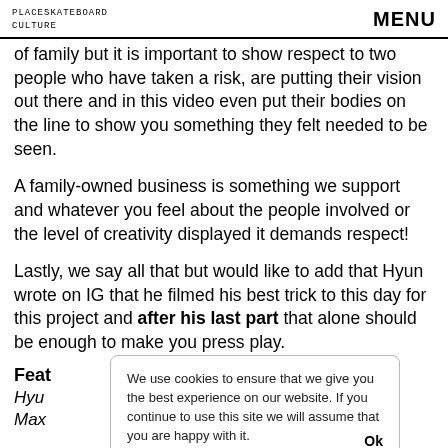PLACESKATEBOARD CULTURE | MENU
of family but it is important to show respect to two people who have taken a risk, are putting their vision out there and in this video even put their bodies on the line to show you something they felt needed to be seen.
A family-owned business is something we support and whatever you feel about the people involved or the level of creativity displayed it demands respect!
Lastly, we say all that but would like to add that Hyun wrote on IG that he filmed his best trick to this day for this project and after his last part that alone should be enough to make you press play.
Feat
Hyu                                                                         m, Max
We use cookies to ensure that we give you the best experience on our website. If you continue to use this site we will assume that you are happy with it. Ok